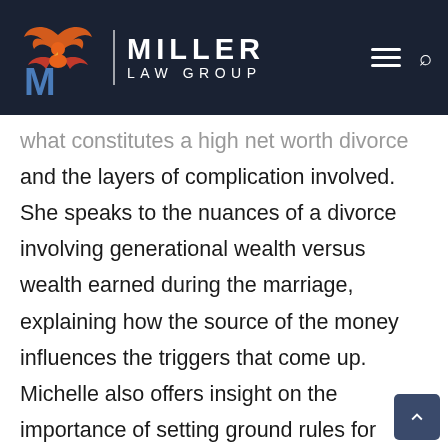Miller Law Group
what constitutes a high net worth divorce and the layers of complication involved. She speaks to the nuances of a divorce involving generational wealth versus wealth earned during the marriage, explaining how the source of the money influences the triggers that come up. Michelle also offers insight on the importance of setting ground rules for financial transparency early in the proce...